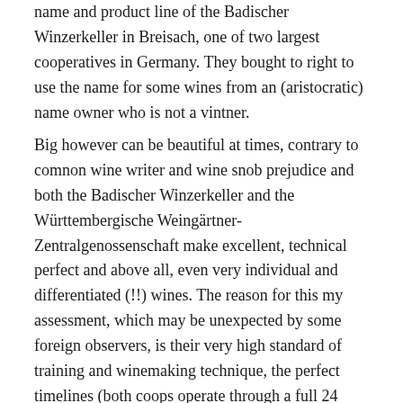name and product line of the Badischer Winzerkeller in Breisach, one of two largest cooperatives in Germany. They bought to right to use the name for some wines from an (aristocratic) name owner who is not a vintner.
Big however can be beautiful at times, contrary to comnon wine writer and wine snob prejudice and both the Badischer Winzerkeller and the Württembergische Weingärtner-Zentralgenossenschaft make excellent, technical perfect and above all, even very individual and differentiated (!!) wines. The reason for this my assessment, which may be unexpected by some foreign observers, is their very high standard of training and winemaking technique, the perfect timelines (both coops operate through a full 24 hours at day and night at the grape acceptance and pressing stations, during harvest times), and the plethora of small and smallest tanks, vats - including barriques - and many glass vessels, which both possess. I have repeatedly found that these mega-coops are able (and willing) to get the utmost out of the respective terroir, bringing (also the already harvested) grapes to an